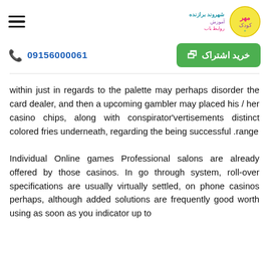☰  [logo: مهر کودک + شهروند برازنده آموزش روابط باب]
09156000061  [phone icon]   خرید اشتراک [calendar icon]
within just in regards to the palette may perhaps disorder the card dealer, and then a upcoming gambler may placed his / her casino chips, along with conspirator'vertisements distinct colored fries underneath, regarding the being successful .range
Individual Online games Professional salons are already offered by those casinos. In go through system, roll-over specifications are usually virtually settled, on phone casinos perhaps, although added solutions are frequently good worth using as soon as you indicator up to